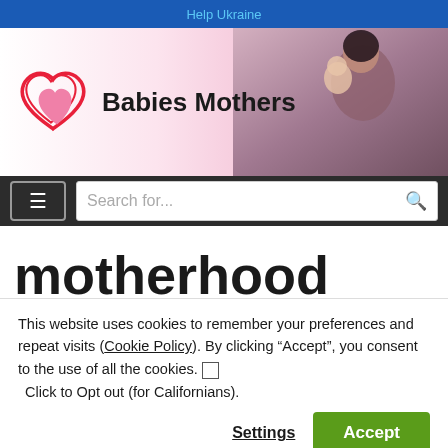Help Ukraine
[Figure (logo): Babies Mothers website header with heart logo and mother holding baby photo]
[Figure (screenshot): Navigation bar with hamburger menu button and search field]
motherhood
This website uses cookies to remember your preferences and repeat visits (Cookie Policy). By clicking “Accept”, you consent to the use of all the cookies. ☐ Click to Opt out (for Californians).
Settings   Accept